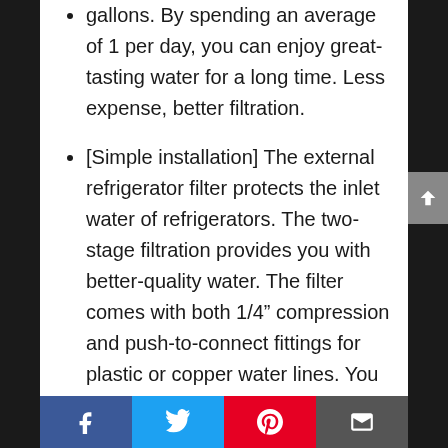gallons. By spending an average of 1 per day, you can enjoy great-tasting water for a long time. Less expense, better filtration.
[Simple installation] The external refrigerator filter protects the inlet water of refrigerators. The two-stage filtration provides you with better-quality water. The filter comes with both 1/4” compression and push-to-connect fittings for plastic or copper water lines. You can install the filter with a single twist, without cutting the tubing.
[All-inclusive packing list] The filter